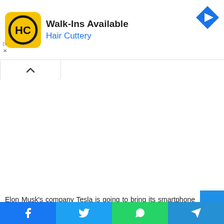[Figure (screenshot): Hair Cuttery advertisement banner with yellow logo showing HC initials, headline 'Walk-Ins Available', brand name 'Hair Cuttery', and a blue navigation arrow icon in top right]
[Figure (screenshot): Collapsed/minimized UI bar with an upward chevron arrow]
Elon Musk's company Tesla is going to bring its smartphone to the market. Elon Musk means something
[Figure (screenshot): Social sharing toolbar with Facebook, Twitter, WhatsApp, and Telegram buttons]